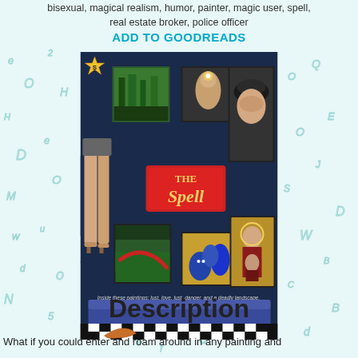bisexual, magical realism, humor, painter, magic user, spell, real estate broker, police officer
ADD TO GOODREADS
[Figure (illustration): Book cover of 'The Spell' by Nancy J. Hedin, showing framed paintings on a dark blue wall with a woman's legs entering from the left, a boomerang on a black-and-white checkered floor, and a blue velvet couch. The title 'The Spell' is displayed in a red and gold sign. Subtitle reads: 'Inside these paintings: lust, love, lust, danger, and a deadly landscape.']
Description
What if you could enter and roam around in any painting and